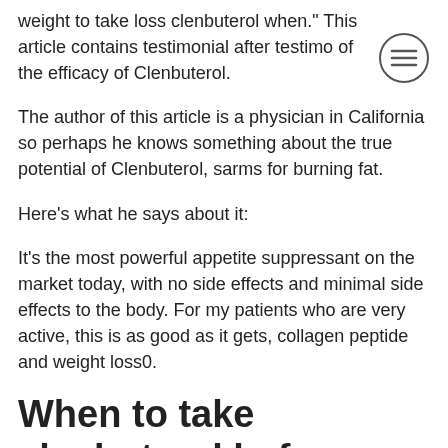weight to take loss clenbuterol when." This article contains testimonial after testimonial of the efficacy of Clenbuterol.
The author of this article is a physician in California so perhaps he knows something about the true potential of Clenbuterol, sarms for burning fat.
Here's what he says about it:
It's the most powerful appetite suppressant on the market today, with no side effects and minimal side effects to the body. For my patients who are very active, this is as good as it gets, collagen peptide and weight loss0.
When to take clenbuterol before workout
For this reason, when trying to build muscle and size, I take a protein shake both before